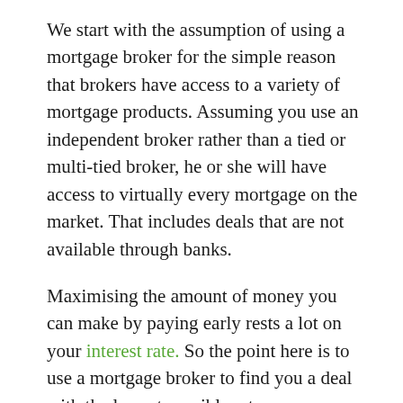We start with the assumption of using a mortgage broker for the simple reason that brokers have access to a variety of mortgage products. Assuming you use an independent broker rather than a tied or multi-tied broker, he or she will have access to virtually every mortgage on the market. That includes deals that are not available through banks.
Maximising the amount of money you can make by paying early rests a lot on your interest rate. So the point here is to use a mortgage broker to find you a deal with the lowest possible rate.
How Mortgage Interest is Calculated
Mortgage interest it is calculated annually. This is key to understanding the money-making principle. Let's assume lets take a $150,000 mortgage at 5%. You